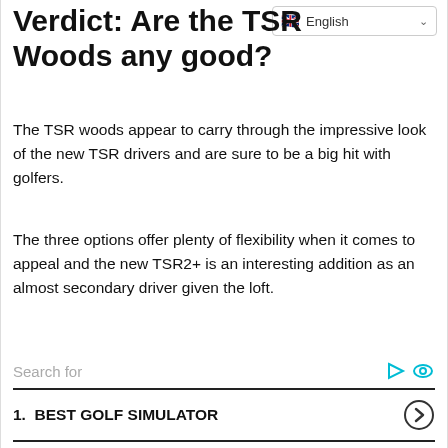Verdict: Are the TSR Woods any good?
The TSR woods appear to carry through the impressive look of the new TSR drivers and are sure to be a big hit with golfers.
The three options offer plenty of flexibility when it comes to appeal and the new TSR2+ is an interesting addition as an almost secondary driver given the loft.
1. BEST GOLF SIMULATOR
2. CHEAP USED GOLF CARTS
3. CLEARANCE SALE ON GOLF CLUBS
4. GAS GOLF CARTS